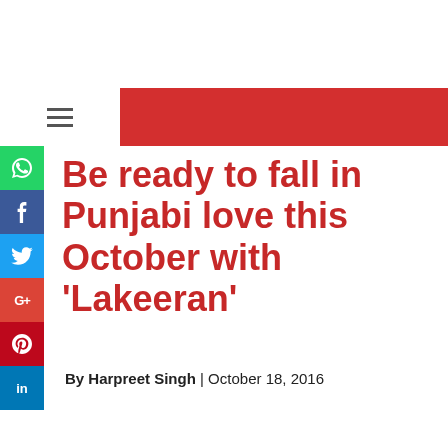[Figure (screenshot): Red navigation bar with white hamburger menu icon on left panel]
Be ready to fall in Punjabi love this October with 'Lakeeran'
By Harpreet Singh | October 18, 2016